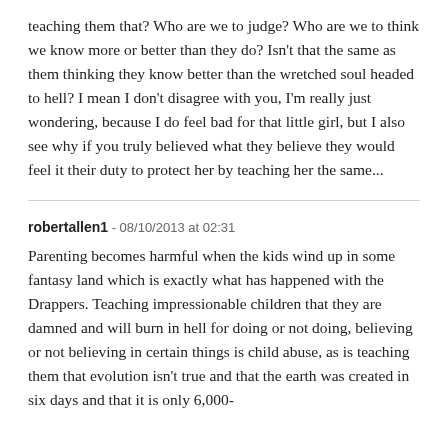teaching them that? Who are we to judge? Who are we to think we know more or better than they do? Isn't that the same as them thinking they know better than the wretched soul headed to hell? I mean I don't disagree with you, I'm really just wondering, because I do feel bad for that little girl, but I also see why if you truly believed what they believe they would feel it their duty to protect her by teaching her the same...
robertallen1 - 08/10/2013 at 02:31
Parenting becomes harmful when the kids wind up in some fantasy land which is exactly what has happened with the Drappers. Teaching impressionable children that they are damned and will burn in hell for doing or not doing, believing or not believing in certain things is child abuse, as is teaching them that evolution isn't true and that the earth was created in six days and that it is only 6,000-